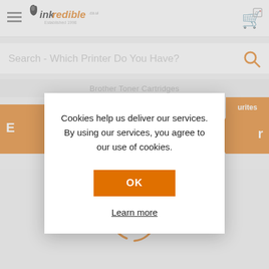[Figure (logo): Inkredible.co.uk logo with ink drop icon, 'Established 1998' tagline]
Search - Which Printer Do You Have?
Brother Toner Cartridges
Cookies help us deliver our services. By using our services, you agree to our use of cookies.
OK
Learn more